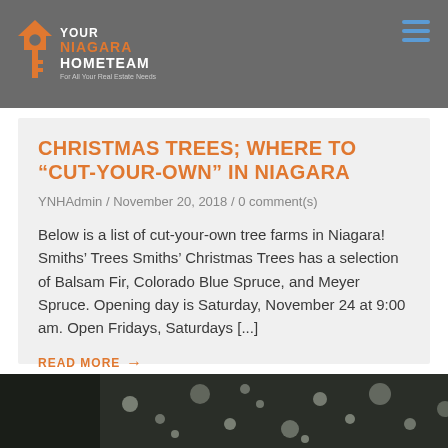YOUR NIAGARA HOME TEAM — For All Your Real Estate Needs
CHRISTMAS TREES; WHERE TO “CUT-YOUR-OWN” IN NIAGARA
YNHAdmin / November 20, 2018 / 0 comment(s)
Below is a list of cut-your-own tree farms in Niagara! Smiths’ Trees Smiths’ Christmas Trees has a selection of Balsam Fir, Colorado Blue Spruce, and Meyer Spruce. Opening day is Saturday, November 24 at 9:00 am. Open Fridays, Saturdays [...]
READ MORE →
[Figure (photo): Bottom strip showing a dark nature/rain scene with bokeh water droplets]